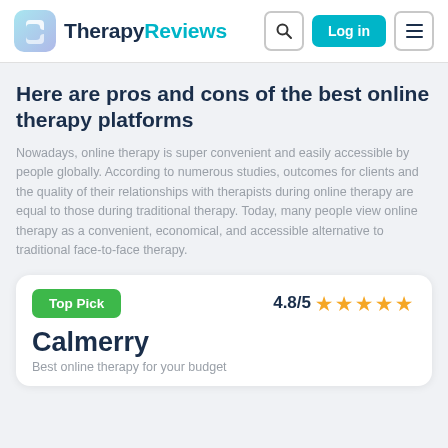TherapyReviews
Here are pros and cons of the best online therapy platforms
Nowadays, online therapy is super convenient and easily accessible by people globally. According to numerous studies, outcomes for clients and the quality of their relationships with therapists during online therapy are equal to those during traditional therapy. Today, many people view online therapy as a convenient, economical, and accessible alternative to traditional face-to-face therapy.
Top Pick  4.8/5 ★★★★★
Calmerry
Best online therapy for your budget